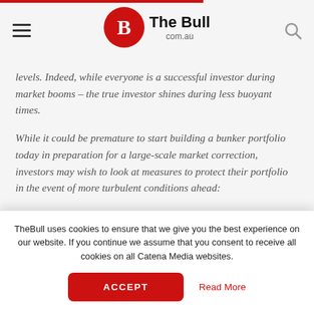The Bull com.au
levels. Indeed, while everyone is a successful investor during market booms – the true investor shines during less buoyant times.
While it could be premature to start building a bunker portfolio today in preparation for a large-scale market correction, investors may wish to look at measures to protect their portfolio in the event of more turbulent conditions ahead:
Diversification – don't be too exposed to one share, sector or asset class. While commodities might be booming, for example,
TheBull uses cookies to ensure that we give you the best experience on our website. If you continue we assume that you consent to receive all cookies on all Catena Media websites.